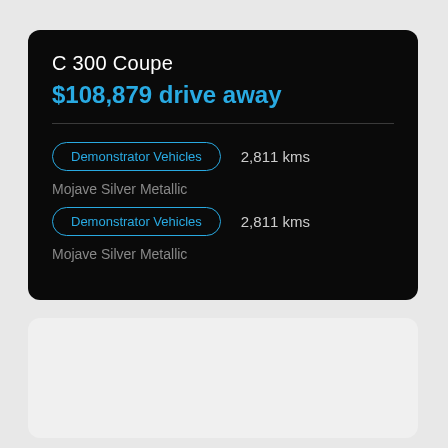C 300 Coupe
$108,879 drive away
Demonstrator Vehicles   2,811 kms
Mojave Silver Metallic
Demonstrator Vehicles   2,811 kms
Mojave Silver Metallic